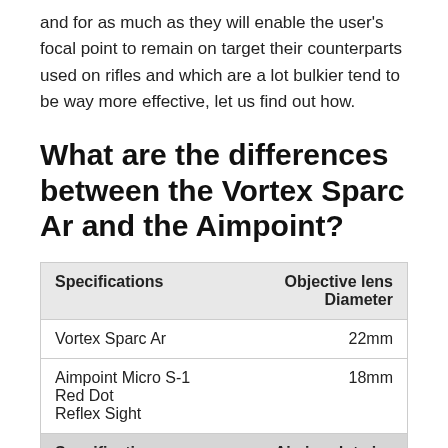and for as much as they will enable the user's focal point to remain on target their counterparts used on rifles and which are a lot bulkier tend to be way more effective, let us find out how.
What are the differences between the Vortex Sparc Ar and the Aimpoint?
| Specifications | Objective lens Diameter |
| --- | --- |
| Vortex Sparc Ar | 22mm |
| Aimpoint Micro S-1 Red Dot Reflex Sight | 18mm |
| Specifications | Aiming dot size |